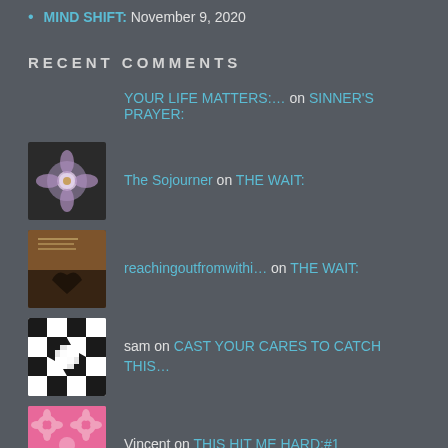MIND SHIFT: November 9, 2020
RECENT COMMENTS
YOUR LIFE MATTERS:… on SINNER'S PRAYER:
The Sojourner on THE WAIT:
reachingoutfromwithi… on THE WAIT:
sam on CAST YOUR CARES TO CATCH THIS…
Vincent on THIS HIT ME HARD:#1
ARCHIVES